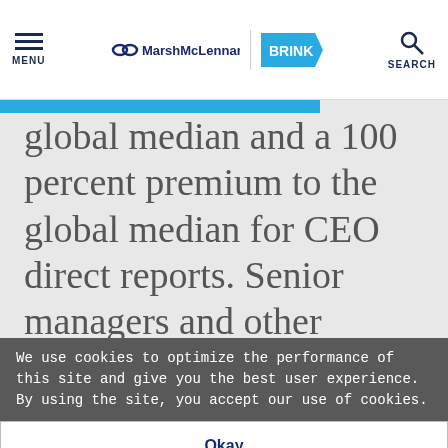MENU | MarshMcLennan BRINK | SEARCH
global median and a 100 percent premium to the global median for CEO direct reports. Senior managers and other critical employees are not given as high of a premium, but the median
We use cookies to optimize the performance of this site and give you the best user experience. By using the site, you accept our use of cookies.
Okay
Manage Cookies